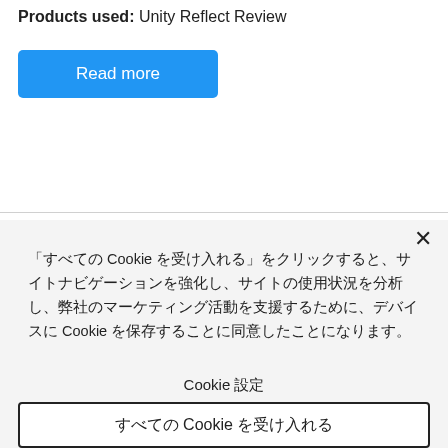Products used: Unity Reflect Review
[Figure (other): Blue 'Read more' button]
「すべての Cookie を受け入れる」をクリックすると、サイトナビゲーションを強化し、サイトの使用状況を分析し、弊社のマーケティング活動を支援するために、デバイスに Cookie を保存することに同意したことになります。
Cookie 設定
すべての Cookie を受け入れる